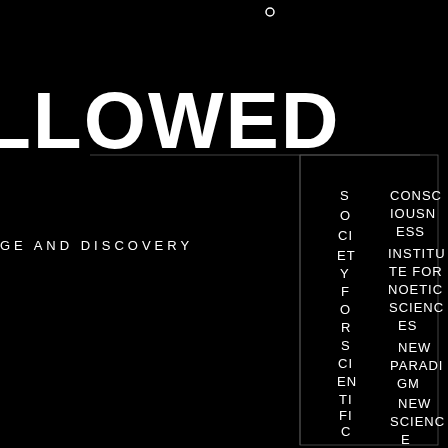[Figure (other): Dark decorative typographic layout on black background. A small circle at top center. Large cropped white bold text 'LLOWED' at upper left. Text 'GE AND DISCOVERY' at left middle. A bordered rectangle in the center-right area containing two columns of vertically-stacked white text: left column reads 'S O CI ET Y F O R S CI EN TI FI C EX PL O RA TI O' and right column lists: 'CONSC IOUSN ESS', 'INSTITU TE FOR NOETIC SCIENC ES', 'NEW PARADI GM', 'NEW SCIENC E', 'PARAN ORMAL', 'SCIENTI FIC']